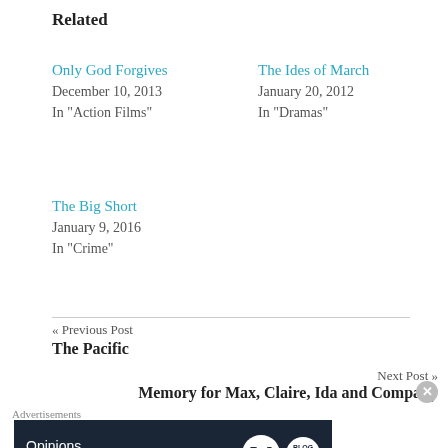Related
Only God Forgives
December 10, 2013
In "Action Films"
The Ides of March
January 20, 2012
In "Dramas"
The Big Short
January 9, 2016
In "Crime"
« Previous Post
The Pacific
Next Post »
Memory for Max, Claire, Ida and Company
Advertisements
[Figure (other): WordPress advertisement banner with text 'Opinions. We all have them!' and WordPress logo]